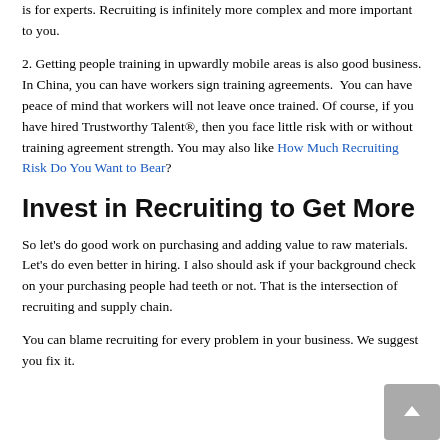is for experts. Recruiting is infinitely more complex and more important to you.
2. Getting people training in upwardly mobile areas is also good business. In China, you can have workers sign training agreements. You can have peace of mind that workers will not leave once trained. Of course, if you have hired Trustworthy Talent®, then you face little risk with or without training agreement strength. You may also like How Much Recruiting Risk Do You Want to Bear?
Invest in Recruiting to Get More
So let's do good work on purchasing and adding value to raw materials. Let's do even better in hiring. I also should ask if your background check on your purchasing people had teeth or not. That is the intersection of recruiting and supply chain.
You can blame recruiting for every problem in your business. We suggest you fix it.